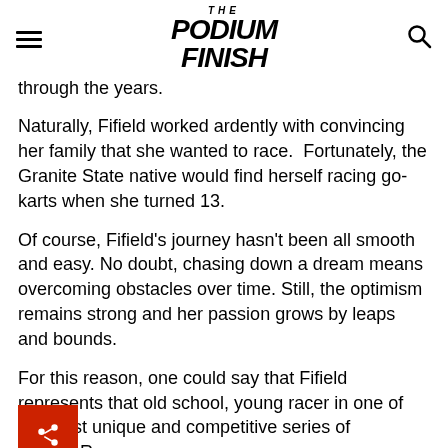THE PODIUM FINISH
through the years.
Naturally, Fifield worked ardently with convincing her family that she wanted to race.  Fortunately, the Granite State native would find herself racing go-karts when she turned 13.
Of course, Fifield's journey hasn't been all smooth and easy. No doubt, chasing down a dream means overcoming obstacles over time. Still, the optimism remains strong and her passion grows by leaps and bounds.
For this reason, one could say that Fifield represents that old school, young racer in one of the most unique and competitive series of NASCAR.